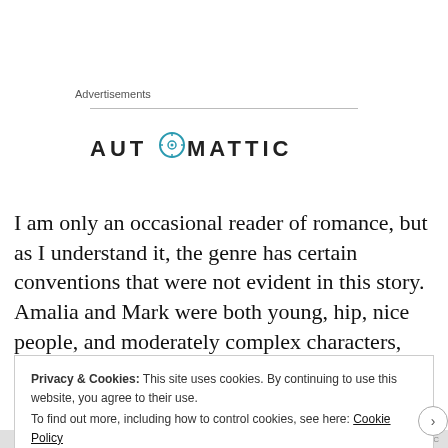Advertisements
[Figure (logo): Automattic logo with stylized compass/target icon replacing the letter O]
I am only an occasional reader of romance, but as I understand it, the genre has certain conventions that were not evident in this story. Amalia and Mark were both young, hip, nice people, and moderately complex characters, but the story lacked
Privacy & Cookies: This site uses cookies. By continuing to use this website, you agree to their use.
To find out more, including how to control cookies, see here: Cookie Policy
Close and accept